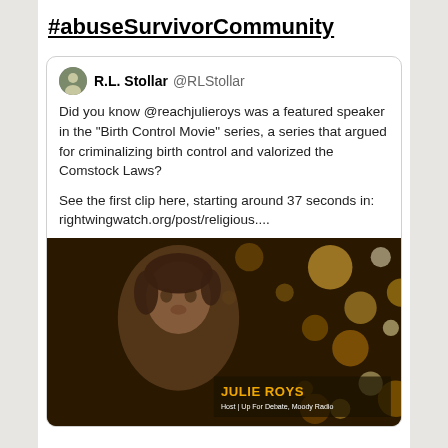#abuseSurvivorCommunity
R.L. Stollar @RLStollar

Did you know @reachjulieroys was a featured speaker in the "Birth Control Movie" series, a series that argued for criminalizing birth control and valorized the Comstock Laws?

See the first clip here, starting around 37 seconds in: rightwingwatch.org/post/religious....
[Figure (screenshot): Video thumbnail showing a woman's face in close-up against a bokeh background of golden lights. Lower third graphic reads 'JULIE ROYS / Host | Up For Debate, Moody Radio']